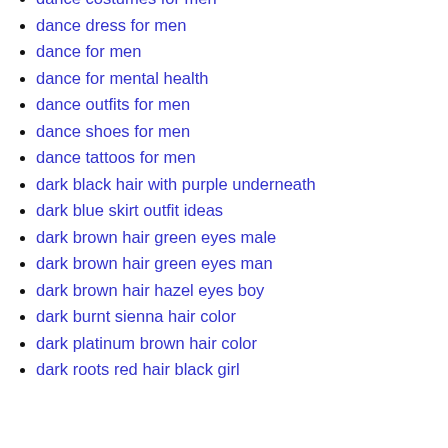dance costumes for men
dance dress for men
dance for men
dance for mental health
dance outfits for men
dance shoes for men
dance tattoos for men
dark black hair with purple underneath
dark blue skirt outfit ideas
dark brown hair green eyes male
dark brown hair green eyes man
dark brown hair hazel eyes boy
dark burnt sienna hair color
dark platinum brown hair color
dark roots red hair black girl